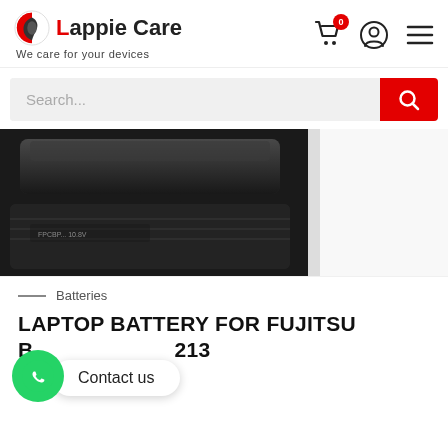Lappie Care – We care for your devices
[Figure (screenshot): Search bar with red search button]
[Figure (photo): Close-up photo of a black laptop battery]
Batteries
LAPTOP BATTERY FOR FUJITSU B... 213
₹4,999.00
[Figure (other): WhatsApp contact us button overlay]